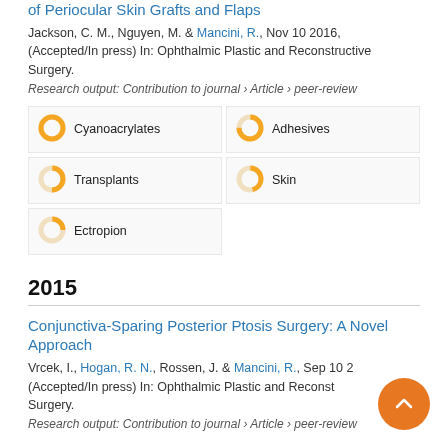of Periocular Skin Grafts and Flaps
Jackson, C. M., Nguyen, M. & Mancini, R., Nov 10 2016, (Accepted/In press) In: Ophthalmic Plastic and Reconstructive Surgery.
Research output: Contribution to journal › Article › peer-review
[Figure (infographic): Keyword badges with donut/ring percentage indicators: Cyanoacrylates 100%, Adhesives 75%, Transplants 50%, Skin 46%, Ectropion 25%]
2015
Conjunctiva-Sparing Posterior Ptosis Surgery: A Novel Approach
Vrcek, I., Hogan, R. N., Rossen, J. & Mancini, R., Sep 10 2015, (Accepted/In press) In: Ophthalmic Plastic and Reconstructive Surgery.
Research output: Contribution to journal › Article › peer-review